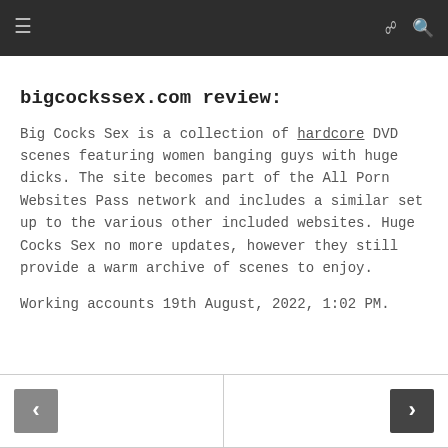≡  ∞  🔍
bigcockssex.com review:
Big Cocks Sex is a collection of hardcore DVD scenes featuring women banging guys with huge dicks. The site becomes part of the All Porn Websites Pass network and includes a similar set up to the various other included websites. Huge Cocks Sex no more updates, however they still provide a warm archive of scenes to enjoy.
Working accounts 19th August, 2022, 1:02 PM.